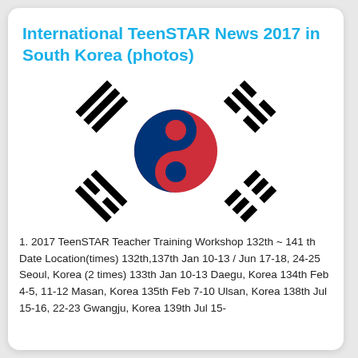International TeenSTAR News 2017 in South Korea (photos)
[Figure (illustration): South Korean national flag (Taegukgi) with red and blue taegeuk symbol in center and four black trigrams in corners, on white background]
1. 2017 TeenSTAR Teacher Training Workshop 132th ~ 141 th Date Location(times) 132th,137th Jan 10-13 / Jun 17-18, 24-25 Seoul, Korea (2 times) 133th Jan 10-13 Daegu, Korea 134th Feb 4-5, 11-12 Masan, Korea 135th Feb 7-10 Ulsan, Korea 138th Jul 15-16, 22-23 Gwangju, Korea 139th Jul 15-